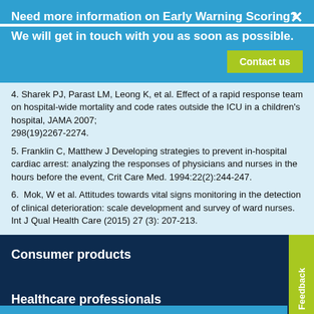Need more information on Early Warning Scoring?
We will get in touch with you as soon as possible.
4. Sharek PJ, Parast LM, Leong K, et al. Effect of a rapid response team on hospital-wide mortality and code rates outside the ICU in a children's hospital, JAMA 2007; 298(19)2267-2274.
5. Franklin C, Matthew J Developing strategies to prevent in-hospital cardiac arrest: analyzing the responses of physicians and nurses in the hours before the event, Crit Care Med. 1994:22(2):244-247.
6.  Mok, W et al. Attitudes towards vital signs monitoring in the detection of clinical deterioration: scale development and survey of ward nurses. Int J Qual Health Care (2015) 27 (3): 207-213.
Consumer products
Healthcare professionals
Cookie Preference
Feedback